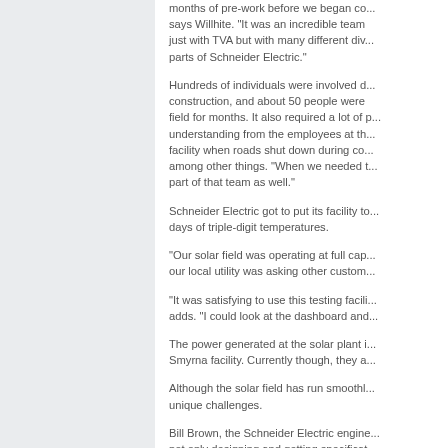months of pre-work before we began construction, says Willhite. "It was an incredible team effort, not just with TVA but with many different divisions and parts of Schneider Electric."
Hundreds of individuals were involved during construction, and about 50 people were working in the field for months. It also required a lot of patience and understanding from the employees at the Smyrna facility when roads shut down during construction, among other things. "When we needed them, they were part of that team as well."
Schneider Electric got to put its facility to the test during days of triple-digit temperatures.
"Our solar field was operating at full capacity while our local utility was asking other customers to reduce..."
"It was satisfying to use this testing facility," Willhite adds. "I could look at the dashboard and..."
The power generated at the solar plant is used at the Smyrna facility. Currently though, they a...
Although the solar field has run smoothly, it presented unique challenges.
Bill Brown, the Schneider Electric engineer, says not only designing and getting specifications right, but Schneider products had not been developed...
"To make it work, we...